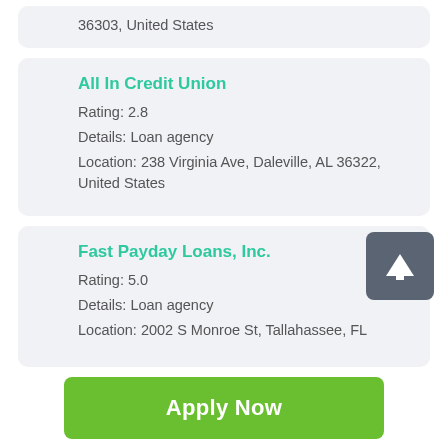36303, United States
All In Credit Union
Rating: 2.8
Details: Loan agency
Location: 238 Virginia Ave, Daleville, AL 36322, United States
Fast Payday Loans, Inc.
Rating: 5.0
Details: Loan agency
Location: 2002 S Monroe St, Tallahassee, FL
Apply Now
Applying does NOT affect your credit score!
No credit check to apply.